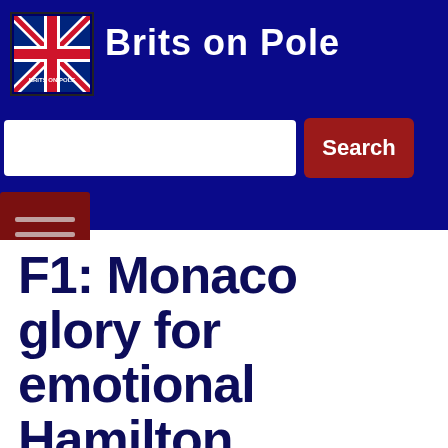Brits on Pole
[Figure (logo): Brits on Pole logo with UK flag]
F1: Monaco glory for emotional Hamilton
Andy Darley   May 25, 2008   F1